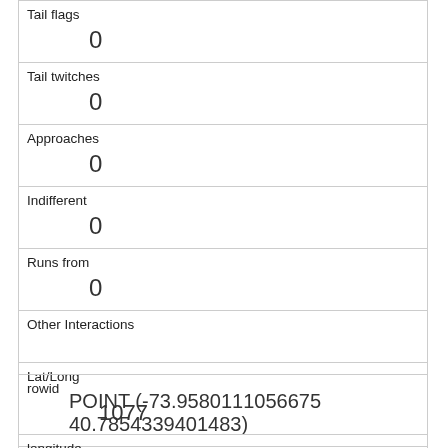| Tail flags | 0 |
| Tail twitches | 0 |
| Approaches | 0 |
| Indifferent | 0 |
| Runs from | 0 |
| Other Interactions |  |
| Lat/Long | POINT (-73.9580111056675 40.7854339401483) |
| rowid | 1077 |
| longitude | -73.9541837143178 |
| latitude | 40.7944340477396 |